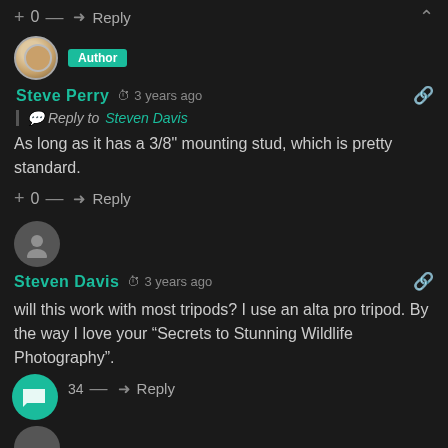Wildlife photography secrets.
+ 0 — → Reply ∧
[Figure (photo): Author avatar with Author badge]
Steve Perry  🕐 3 years ago  Reply to Steven Davis
As long as it has a 3/8" mounting stud, which is pretty standard.
+ 0 — → Reply
[Figure (photo): Generic grey user avatar circle]
Steven Davis  🕐 3 years ago
will this work with most tripods? I use an alta pro tripod. By the way I love your "Secrets to Stunning Wildlife Photography".
34 — → Reply